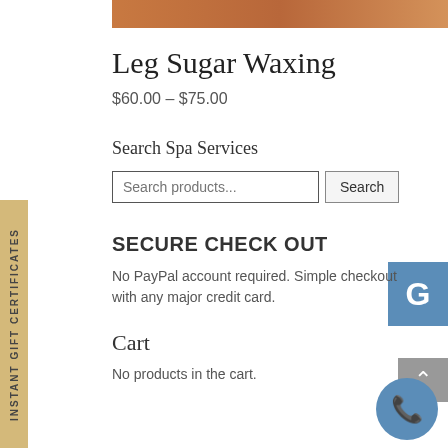[Figure (photo): Partial decorative image at top with warm brown/orange gradient tones]
Leg Sugar Waxing
$60.00 – $75.00
Search Spa Services
Search products... [search input] Search [button]
SECURE CHECK OUT
No PayPal account required. Simple checkout with any major credit card.
Cart
No products in the cart.